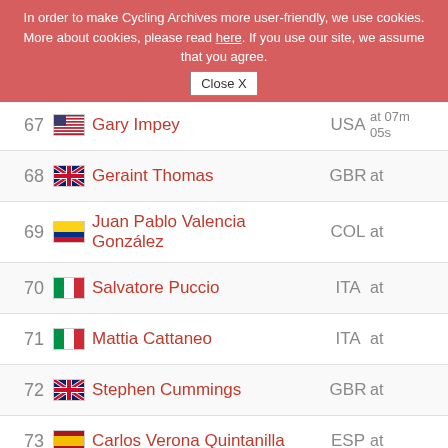| # | Flag | Name | NAT | Time |
| --- | --- | --- | --- | --- |
| 67 | USA | Gary Impey | USA | at 07m 05s |
| 68 | GBR | Geraint Thomas | GBR | at |
| 69 | COL | Juan Pablo Valencia González | COL | at |
| 70 | ITA | Salvatore Puccio | ITA | at |
| 71 | ITA | Mattia Cattaneo | ITA | at |
| 72 | GBR | Stephen Cummings | GBR | at |
| 73 | ESP | Carlos Verona Quintanilla | ESP | at |
| 74 | USA | Ian Boswell | USA | at |
| 75 | ESP | Javier Moreno Bazán | ESP | at |
| 76 | AUS | Cameron Meyer | AUS | at |
| 77 | ITA | Moreno Moser | ITA | at 07m 39s |
| 78 | DEN | Jesper Hansen | DEN | at 07m 49s |
| 79 | CAN | Dominique Rollin | CAN | at 07m 58s |
| 80 | PUR | Luis Leon | PUR | at |
| 81 | NED | Mike Teunissen | NED | at 08m 22s |